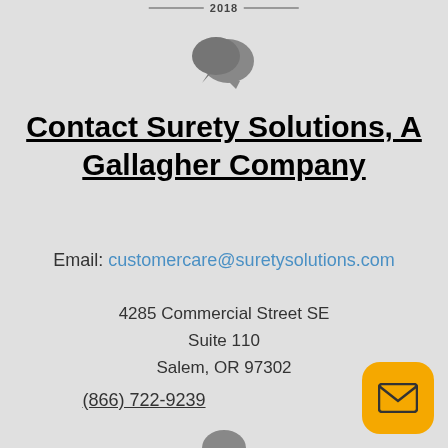2018
[Figure (illustration): Two overlapping chat bubble icons in dark gray]
Contact Surety Solutions, A Gallagher Company
Email: customercare@suretysolutions.com
4285 Commercial Street SE
Suite 110
Salem, OR 97302
(866) 722-9239
[Figure (illustration): Yellow rounded square button with envelope/mail icon]
[Figure (illustration): Partial gray icon at bottom center of page]